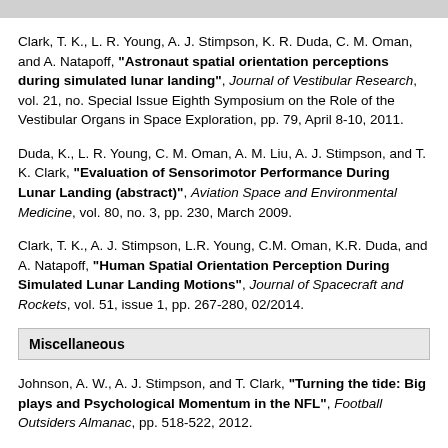Clark, T. K., L. R. Young, A. J. Stimpson, K. R. Duda, C. M. Oman, and A. Natapoff, "Astronaut spatial orientation perceptions during simulated lunar landing", Journal of Vestibular Research, vol. 21, no. Special Issue Eighth Symposium on the Role of the Vestibular Organs in Space Exploration, pp. 79, April 8-10, 2011.
Duda, K., L. R. Young, C. M. Oman, A. M. Liu, A. J. Stimpson, and T. K. Clark, "Evaluation of Sensorimotor Performance During Lunar Landing (abstract)", Aviation Space and Environmental Medicine, vol. 80, no. 3, pp. 230, March 2009.
Clark, T. K., A. J. Stimpson, L.R. Young, C.M. Oman, K.R. Duda, and A. Natapoff, "Human Spatial Orientation Perception During Simulated Lunar Landing Motions", Journal of Spacecraft and Rockets, vol. 51, issue 1, pp. 267-280, 02/2014.
Miscellaneous
Johnson, A. W., A. J. Stimpson, and T. Clark, "Turning the tide: Big plays and Psychological Momentum in the NFL", Football Outsiders Almanac, pp. 518-522, 2012.